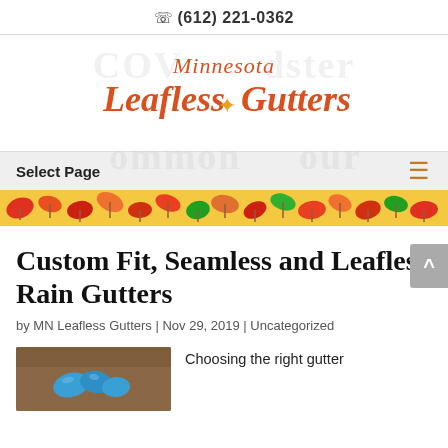✆ (612) 221-0362
[Figure (logo): Minnesota Leafless Gutters logo with orange/red serif text and maple leaf icon, on a white background with faint watermark text behind it]
Select Page
[Figure (illustration): A decorative horizontal strip of colorful autumn leaves (red, orange, yellow, green) spanning the full width of the page]
Custom Fit, Seamless and Leafless Rain Gutters
by MN Leafless Gutters | Nov 29, 2019 | Uncategorized
[Figure (photo): A close-up photo showing blue gloved hands working on a wooden surface or gutter]
Choosing the right gutter